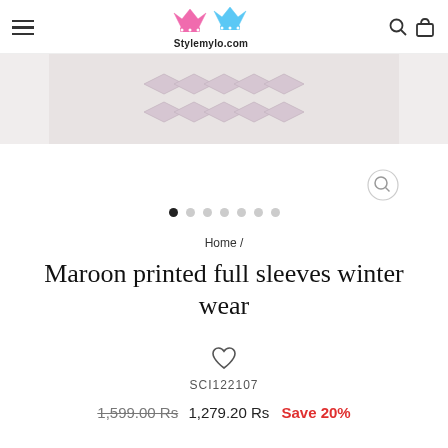Stylemylo.com
[Figure (photo): Product image strip showing a maroon printed winter wear garment with decorative pattern, partially visible on a light grey background]
Home /
Maroon printed full sleeves winter wear
SCI122107
1,599.00 Rs  1,279.20 Rs  Save 20%